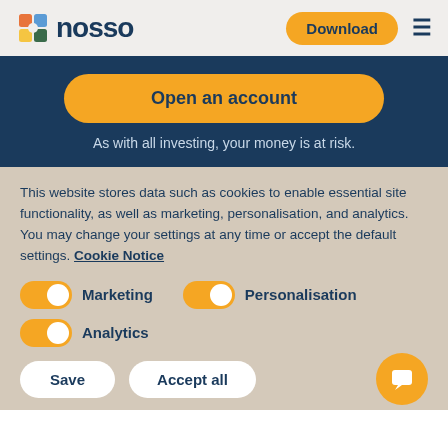[Figure (logo): Nosso logo with colorful square icon and 'nosso' wordmark in dark blue]
Download
Open an account
As with all investing, your money is at risk.
This website stores data such as cookies to enable essential site functionality, as well as marketing, personalisation, and analytics. You may change your settings at any time or accept the default settings. Cookie Notice
Marketing
Personalisation
Analytics
Save
Accept all